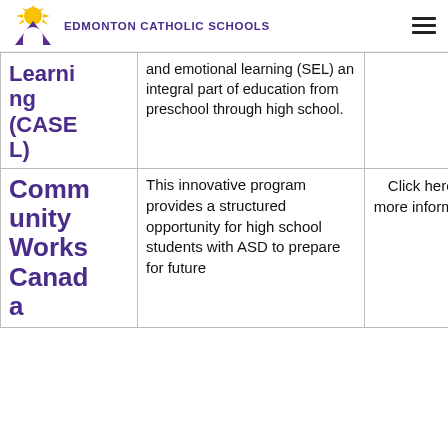Edmonton Catholic Schools
| Program | Description | Link |
| --- | --- | --- |
| Learning (CASEL) | and emotional learning (SEL) an integral part of education from preschool through high school. |  |
| Community Works Canada | This innovative program provides a structured opportunity for high school students with ASD to prepare for future | Click here for more information |